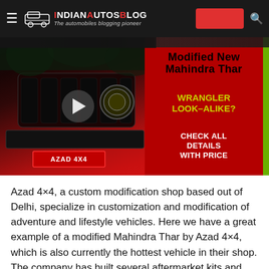IndianAutosBlog — The automobiles blogging pioneer
[Figure (screenshot): Video thumbnail showing a modified red Mahindra Thar front view on the left half and a dark red panel on the right with text: 'Modified New Mahindra Thar — Wrangler Look-Alike? Check All Details With Price'. AZAD 4x4 badge on the car. Play button overlay in center.]
Azad 4×4, a custom modification shop based out of Delhi, specialize in customization and modification of adventure and lifestyle vehicles. Here we have a great example of a modified Mahindra Thar by Azad 4×4, which is also currently the hottest vehicle in their shop. The company has built several aftermarket kits and accessories for the new Thar that can be purchased individually or as a package. This